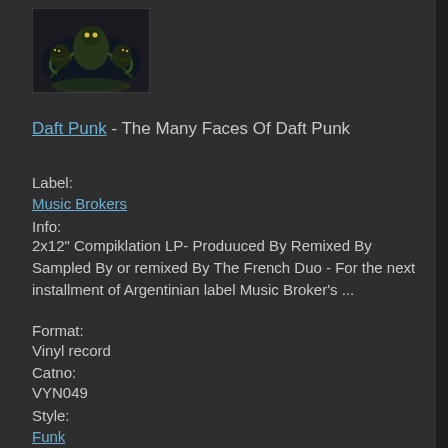[Figure (illustration): Album cover art for The Many Faces Of Daft Punk - dark background with stylized character illustration]
Daft Punk - The Many Faces Of Daft Punk
Label:
Music Brokers
Info:
2x12" Compiklation LP- Produuced By Remixed By Sampled By or remixed By The French Duo - For the next installment of Argentinian label Music Broker's ...
Format:
Vinyl record
Catno:
VYN049
Style:
Funk
Funk
Pop Rap
Pop Rap
House
House